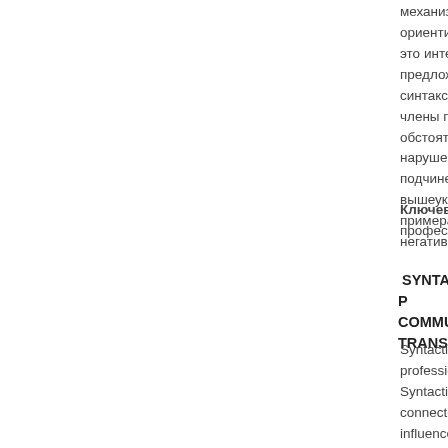механизм её возникновения, её влия ориентированную коммуникацию и п это интерференция членов предложе предложений разных типов. В данно синтаксической интерференции, кто члены предложения, а именно, подл обстоятельства, выраженные разным нарушение порядка слов в предложе подчиненные предложения, сложные вышеуказанные случаи синтаксическо примерах, дается правильный перев негативного влияния интерференции
Ключевые слова: интерференция, с профессионально-ориентированная
SYNTACTICAL INTERFERENCE IN P COMMUNICATION AND TRANSLATIO
Syntactical interference, causes and m profession-oriented communication anc Syntactical interference is an interfere connected in it and that of the sentence influence of syntactical interference on particular, attention has been paid to fo